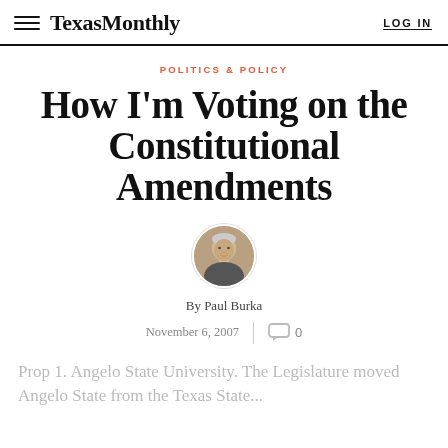Texas Monthly  LOG IN
POLITICS & POLICY
How I'm Voting on the Constitutional Amendments
[Figure (photo): Circular headshot portrait of Paul Burka]
By Paul Burka
November 6, 2007  0
Prop 1. Angelo State University. The Legislature moved Angelo State from the Texas State...